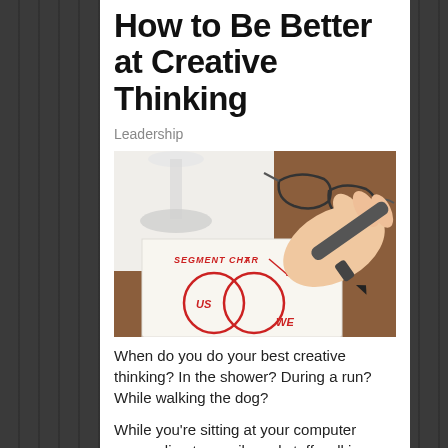How to Be Better at Creative Thinking
Leadership
[Figure (photo): A hand holding a red marker writing a segment chart (Venn diagram labeled US, and partial labels) on a napkin or paper; eyeglasses and a wine glass stem visible in the background on a wooden table.]
When do you do your best creative thinking? In the shower? During a run? While walking the dog?
While you're sitting at your computer responding to emails and staff walking